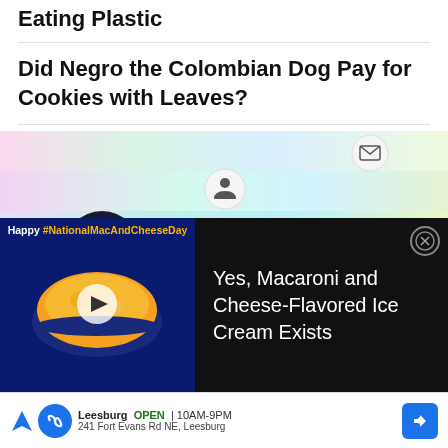Eating Plastic
Did Negro the Colombian Dog Pay for Cookies with Leaves?
[Figure (screenshot): Colorful gradient UI with app icons including a dark circle with art, yellow circle with Snopes logo, grey circle with gift, and green circle. Envelope icon and person icon visible. Background is pastel rainbow gradient.]
[Figure (screenshot): Advertisement. Left side dark blue with text 'Happy #NationalMacAndCheeseDay' and image of mac and cheese cup with play button. Right side black with text 'Yes, Macaroni and Cheese-Flavored Ice Cream Exists' and close button.]
[Figure (screenshot): Map bar advertisement showing Leesburg location: OPEN 10AM-9PM, 241 Fort Evans Rd NE, Leesburg with navigation arrow.]